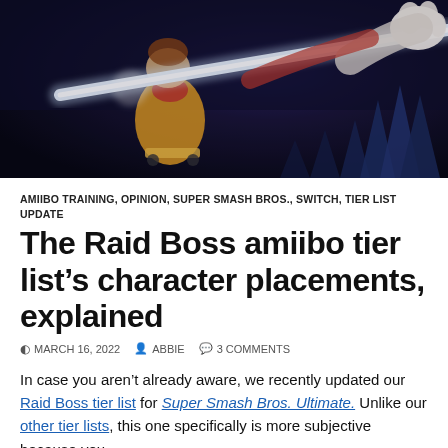[Figure (photo): Screenshot from Super Smash Bros. Ultimate showing a character wielding a large glowing sword/weapon against a dark blue background with crystal-like structures]
AMIIBO TRAINING, OPINION, SUPER SMASH BROS., SWITCH, TIER LIST UPDATE
The Raid Boss amiibo tier list’s character placements, explained
MARCH 16, 2022   ABBIE   3 COMMENTS
In case you aren’t already aware, we recently updated our Raid Boss tier list for Super Smash Bros. Ultimate. Unlike our other tier lists, this one specifically is more subjective because you